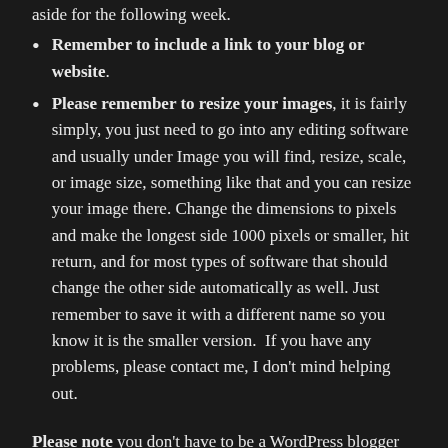aside for the following week.
Remember to include a link to your blog or website.
Please remember to resize your images, it is fairly simply, you just need to go into any editing software and usually under Image you will find, resize, scale, or image size, something like that and you can resize your image there. Change the dimensions to pixels and make the longest side 1000 pixels or smaller, hit return, and for most types of software that should change the other side automatically as well. Just remember to save it with a different name so you know it is the smaller version.  If you have any problems, please contact me, I don’t mind helping out.
Please note you don’t have to be a WordPress blogger to be in this challenge, you can have a link to a Facebook page, a Flickr page, anywhere really, or no link.  We just want to encourage people to do monochrome images, just for the